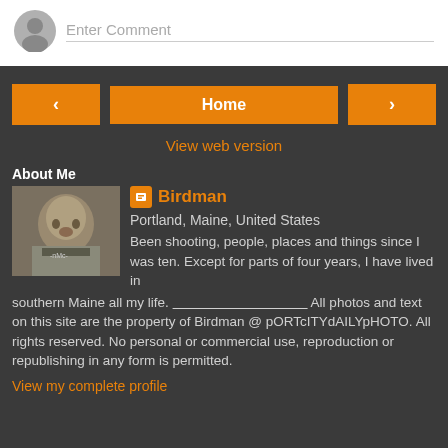Enter Comment
< Home >
View web version
About Me
[Figure (photo): Profile photo of Birdman - a person with a bird-like face mask/sculpture]
Birdman
Portland, Maine, United States
Been shooting, people, places and things since I was ten. Except for parts of four years, I have lived in southern Maine all my life. ___________________________ All photos and text on this site are the property of Birdman @ pORTcITYdAILYpHOTO. All rights reserved. No personal or commercial use, reproduction or republishing in any form is permitted.
View my complete profile